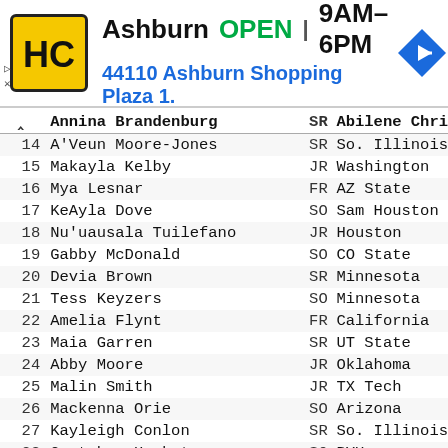[Figure (other): Advertisement banner for HC (Hardware store) in Ashburn - OPEN 9AM-6PM, 44110 Ashburn Shopping Plaza 1.]
|  | Name | Yr | School |
| --- | --- | --- | --- |
| ^ | Annina Brandenburg | SR | Abilene Chri |
| 14 | A'Veun Moore-Jones | SR | So. Illinois |
| 15 | Makayla Kelby | JR | Washington |
| 16 | Mya Lesnar | FR | AZ State |
| 17 | KeAyla Dove | SO | Sam Houston |
| 18 | Nu'uausala Tuilefano | JR | Houston |
| 19 | Gabby McDonald | SO | CO State |
| 20 | Devia Brown | SR | Minnesota |
| 21 | Tess Keyzers | SO | Minnesota |
| 22 | Amelia Flynt | FR | California |
| 23 | Maia Garren | SR | UT State |
| 24 | Abby Moore | JR | Oklahoma |
| 25 | Malin Smith | JR | TX Tech |
| 26 | Mackenna Orie | SO | Arizona |
| 27 | Kayleigh Conlon | SR | So. Illinois |
| 28 | Gretchen Hoekstre | SO | BYU |
| 29 | Kat Moody | SO | Iowa |